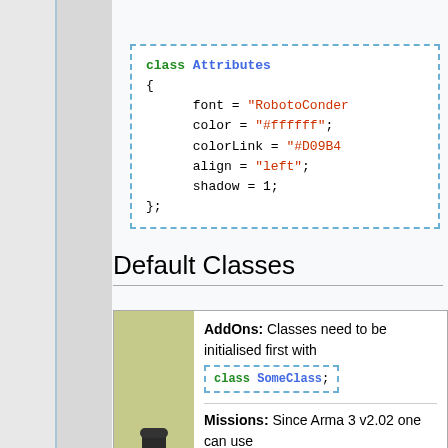[Figure (screenshot): Code block with dashed blue border showing class Attributes definition with font, color, colorLink, align, shadow properties]
Default Classes
[Figure (infographic): Info box with olive/green background. Left side shows Arma soldier image. Right side has two sections: AddOns (Classes need to be initialised first with 'class SomeClass;') and Missions (Since Arma 3 v2.02 one can use 'import SomeClass;' to...)]